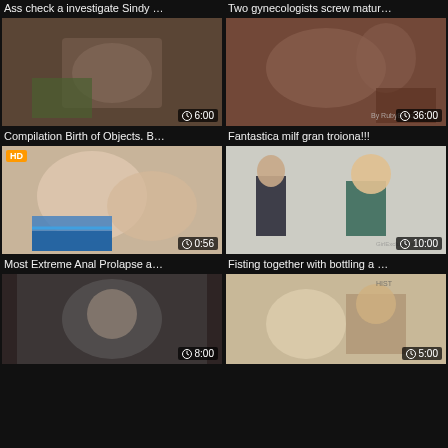Ass check a investigate Sindy …
Two gynecologists screw matur…
[Figure (photo): Video thumbnail showing explicit content, duration 6:00]
[Figure (photo): Video thumbnail showing explicit content, duration 36:00]
Compilation Birth of Objects. B…
Fantastica milf gran troiona!!!
[Figure (photo): Video thumbnail with HD badge, duration 0:56]
[Figure (photo): Video thumbnail showing couple, duration 10:00]
Most Extreme Anal Prolapse a…
Fisting together with bottling a …
[Figure (photo): Video thumbnail, duration 8:00]
[Figure (photo): Video thumbnail, duration 5:00]